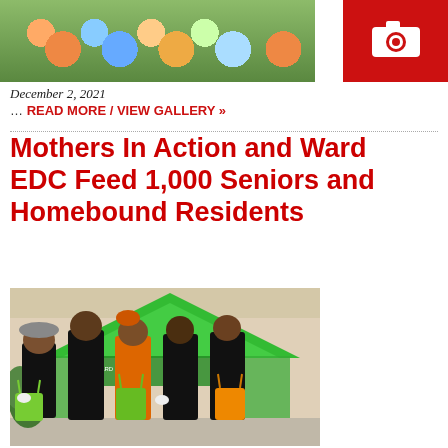[Figure (photo): Photo of food items (colorful cans/packages) with a red camera icon badge on the right side]
December 2, 2021
… READ MORE / VIEW GALLERY »
Mothers In Action and Ward EDC Feed 1,000 Seniors and Homebound Residents
[Figure (photo): Group photo of five people in black t-shirts (Mothers In Action) standing in front of a green tent, holding green and orange tote bags]